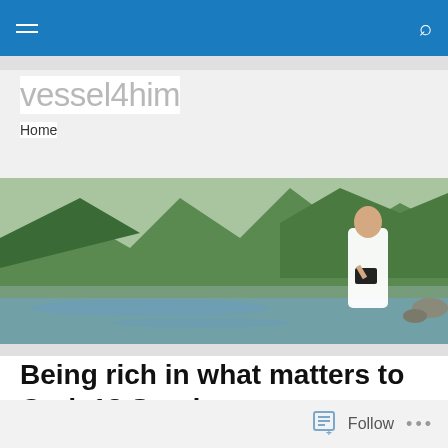vessel4him — navigation bar with hamburger menu and search icon
vessel4him
Home
[Figure (photo): A bald man in white robes holding a black book, standing outdoors near a mountain lake with green hillsides in the background]
Being rich in what matters to God. 18 Sunday
Follow   ...